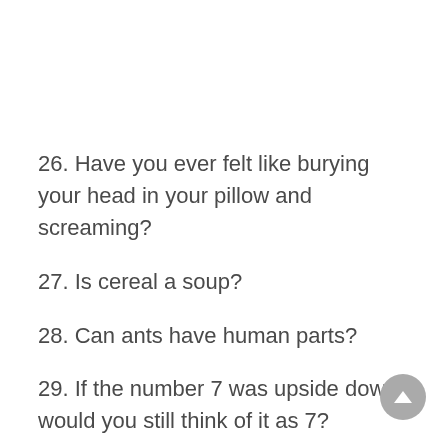26. Have you ever felt like burying your head in your pillow and screaming?
27. Is cereal a soup?
28. Can ants have human parts?
29. If the number 7 was upside down, would you still think of it as 7?
30. If your life depended on it, would you tell a pig a story?